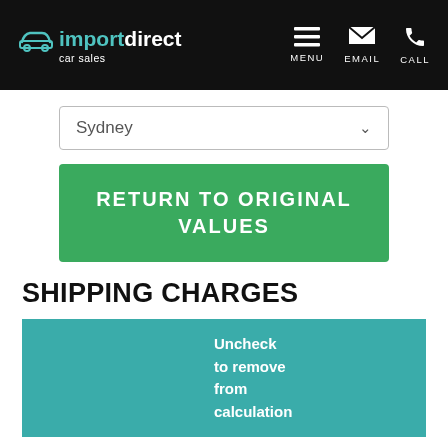import direct car sales — header navigation with MENU, EMAIL, CALL
[Figure (screenshot): Sydney city dropdown selector]
[Figure (screenshot): Green button labeled RETURN TO ORIGINAL VALUES]
SHIPPING CHARGES
|  | Uncheck to remove from calculation |  |  |
| --- | --- | --- | --- |
| Inland Transport | ☑ | AUD 2610.36 |  |